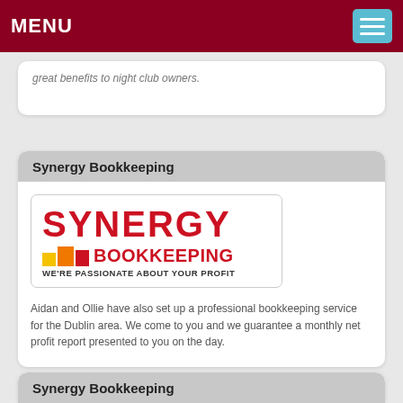MENU
great benefits to night club owners.
Synergy Bookkeeping
[Figure (logo): Synergy Bookkeeping logo — large red SYNERGY text above colored bar-chart cubes (yellow, orange, dark red) followed by BOOKKEEPING in red bold text, tagline: WE'RE PASSIONATE ABOUT YOUR PROFIT]
Aidan and Ollie have also set up a professional bookkeeping service for the Dublin area. We come to you and we guarantee a monthly net profit report presented to you on the day.
Synergy Bookkeeping